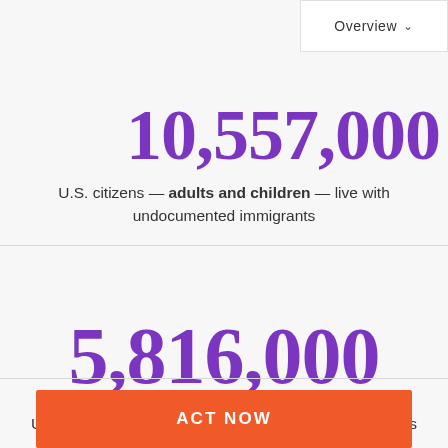Overview
10,557,000
U.S. citizens — adults and children — live with undocumented immigrants
5,816,000
U.S. citizen children live with undocumented individuals
ACT NOW